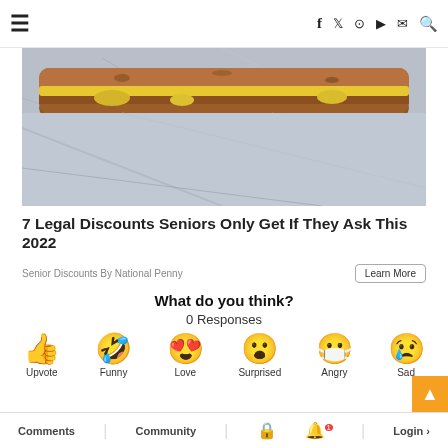≡   f  🐦  📷  ▶  ✉  🔍
[Figure (photo): Close-up photo of a sandwich/burger with melted cheese on toasted bread, resting on crumpled foil wrapper]
7 Legal Discounts Seniors Only Get If They Ask This 2022
Senior Discounts By National Penny
Learn More
What do you think?
0 Responses
[Figure (infographic): Six emoji reaction icons in a row: thumbs up (Upvote), laughing face with tongue (Funny), heart eyes (Love), surprised face (Surprised), mask face (Angry), crying face (Sad)]
Comments   Community   🔒   1   Login